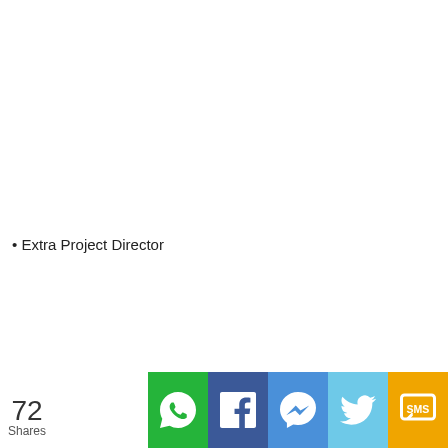• Extra Project Director
[Figure (infographic): Social share bar showing 72 Shares with buttons for WhatsApp, Facebook, Messenger, Twitter, and SMS]